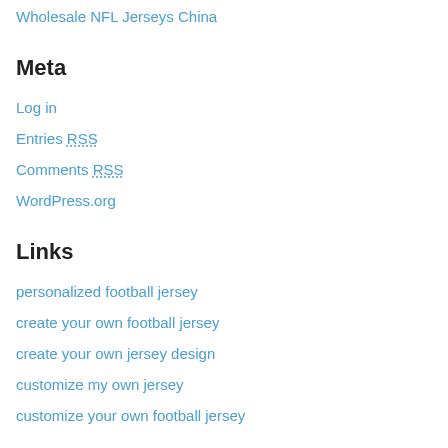Wholesale NFL Jerseys China
Meta
Log in
Entries RSS
Comments RSS
WordPress.org
Links
personalized football jersey
create your own football jersey
create your own jersey design
customize my own jersey
customize your own football jersey